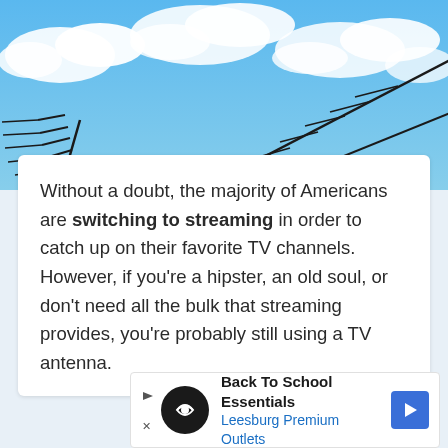[Figure (photo): TV antenna against a blue sky with white clouds]
Without a doubt, the majority of Americans are switching to streaming in order to catch up on their favorite TV channels. However, if you're a hipster, an old soul, or don't need all the bulk that streaming provides, you're probably still using a TV antenna.
[Figure (screenshot): Advertisement banner: Back To School Essentials – Leesburg Premium Outlets]